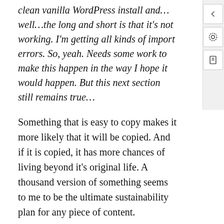clean vanilla WordPress install and…well…the long and short is that it's not working. I'm getting all kinds of import errors. So, yeah. Needs some work to make this happen in the way I hope it would happen. But this next section still remains true…
Something that is easy to copy makes it more likely that it will be copied. And if it is copied, it has more chances of living beyond it's original life. A thousand version of something seems to me to be the ultimate sustainability plan for any piece of content.
[Figure (infographic): Social share buttons: Facebook (blue circle), Twitter (cyan circle), LinkedIn (blue circle), Pocket (red circle), and a More button with share icon]
Like this:
Loading...